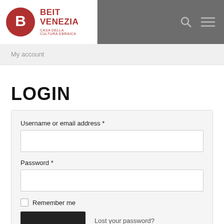[Figure (logo): Beit Venezia logo with red circle containing a stylized B, and text BEIT VENEZIA CASA DELLA CULTURA EBRAICA]
My account
LOGIN
Username or email address *
Password *
Remember me
Lost your password?